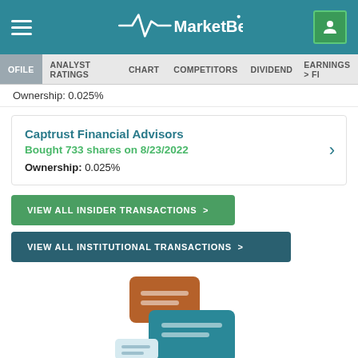MarketBeat
PROFILE | ANALYST RATINGS | CHART | COMPETITORS | DIVIDEND | EARNINGS > FI
Ownership: 0.025%
Captrust Financial Advisors
Bought 733 shares on 8/23/2022
Ownership: 0.025%
VIEW ALL INSIDER TRANSACTIONS >
VIEW ALL INSTITUTIONAL TRANSACTIONS >
[Figure (illustration): Chat bubble illustration: an orange speech bubble on top of a teal speech bubble, with a smaller light-colored speech bubble below, representing analyst commentary or discussion.]
CMS Stock Earnings the Adv